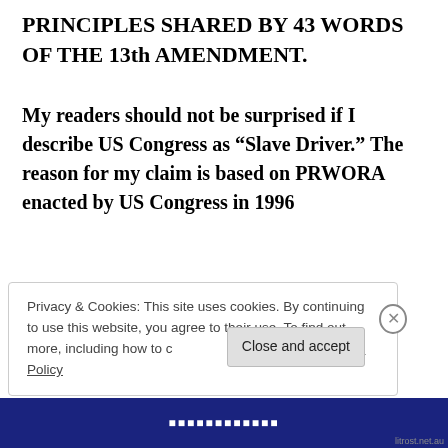PRINCIPLES SHARED BY 43 WORDS OF THE 13th AMENDMENT.
My readers should not be surprised if I describe US Congress as “Slave Driver.” The reason for my claim is based on PRWORA enacted by US Congress in 1996
Privacy & Cookies: This site uses cookies. By continuing to use this website, you agree to their use. To find out more, including how to control cookies, see here: Cookie Policy